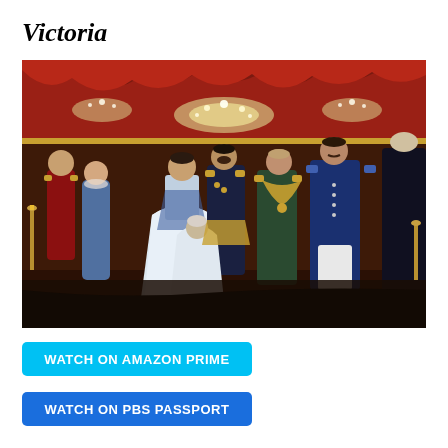Victoria
[Figure (photo): Scene from Victoria TV series showing figures in Victorian-era costume in an ornate ballroom setting. A woman in a white ball gown is being kissed on the cheek by a man in military dress uniform. Other costumed characters stand in the background of a richly decorated room with chandeliers and red drapery.]
WATCH ON AMAZON PRIME
WATCH ON PBS PASSPORT